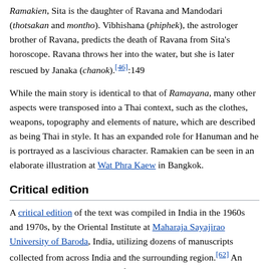Ramakien, Sita is the daughter of Ravana and Mandodari (thotsakan and montho). Vibhishana (phiphek), the astrologer brother of Ravana, predicts the death of Ravana from Sita's horoscope. Ravana throws her into the water, but she is later rescued by Janaka (chanok).[46]:149
While the main story is identical to that of Ramayana, many other aspects were transposed into a Thai context, such as the clothes, weapons, topography and elements of nature, which are described as being Thai in style. It has an expanded role for Hanuman and he is portrayed as a lascivious character. Ramakien can be seen in an elaborate illustration at Wat Phra Kaew in Bangkok.
Critical edition
A critical edition of the text was compiled in India in the 1960s and 1970s, by the Oriental Institute at Maharaja Sayajirao University of Baroda, India, utilizing dozens of manuscripts collected from across India and the surrounding region.[62] An English language translation of the critical edition was completed in November 2016 by Sanskrit scholar Robert P. Goldman of the University of California, Berkeley.[63] Another English translation of Critical Edition of Valmiki Ramayana (in three volumes) with extensive footnotes was done by an Indian Scholar, economist and translator